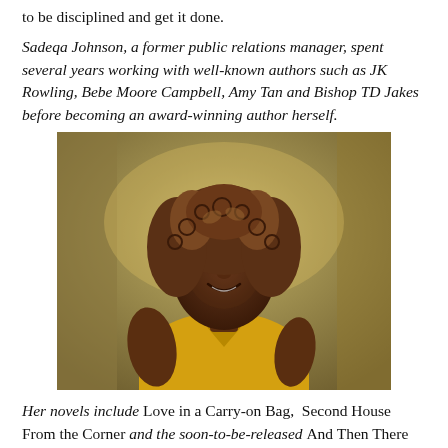to be disciplined and get it done.
Sadeqa Johnson, a former public relations manager, spent several years working with well-known authors such as JK Rowling, Bebe Moore Campbell, Amy Tan and Bishop TD Jakes before becoming an award-winning author herself.
[Figure (photo): Professional headshot of Sadeqa Johnson, a woman with curly brown hair wearing a yellow sleeveless top, smiling, with a blurred natural background.]
Her novels include Love in a Carry-on Bag,  Second House From the Corner and the soon-to-be-released And Then There Was Me (April 2017). Sadeqa lives in Virginia